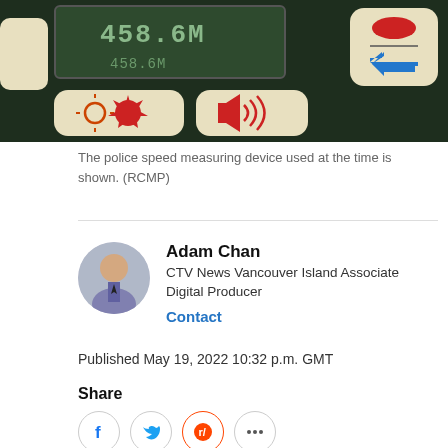[Figure (photo): Close-up photo of a police speed measuring radar device showing a digital display reading '458.6M' and control buttons with icons for brightness, speaker/sound, and other functions on a dark background.]
The police speed measuring device used at the time is shown. (RCMP)
Adam Chan
CTV News Vancouver Island Associate Digital Producer
Contact
Published May 19, 2022 10:32 p.m. GMT
Share